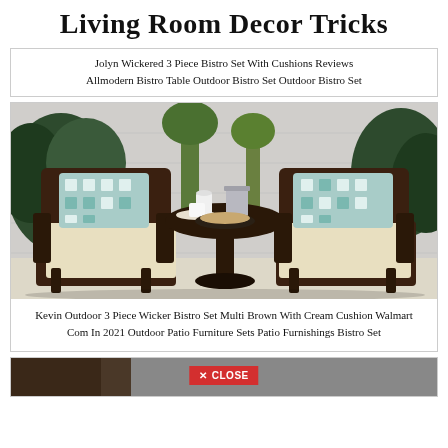Living Room Decor Tricks
Jolyn Wickered 3 Piece Bistro Set With Cushions Reviews Allmodern Bistro Table Outdoor Bistro Set Outdoor Bistro Set
[Figure (photo): Outdoor wicker bistro set with two dark brown wicker chairs with cream cushions and blue checkered throw pillows, round wicker table with coffee items, surrounded by tropical plants against a grey tile wall.]
Kevin Outdoor 3 Piece Wicker Bistro Set Multi Brown With Cream Cushion Walmart Com In 2021 Outdoor Patio Furniture Sets Patio Furnishings Bistro Set
[Figure (photo): Partially visible image at the bottom with a red CLOSE button overlay.]